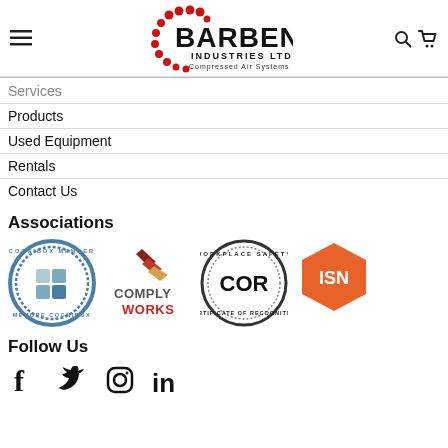Barben Industries Ltd. — Compressed Air Systems — Navigation header with logo
Services
Products
Used Equipment
Rentals
Contact Us
Associations
[Figure (logo): Four association logos: COGNIBOX Member badge, ComplyWorks logo, COR Certificate of Recognition badge, ISN hexagon logo]
Follow Us
[Figure (infographic): Social media icons: Facebook, Twitter, Instagram, LinkedIn]